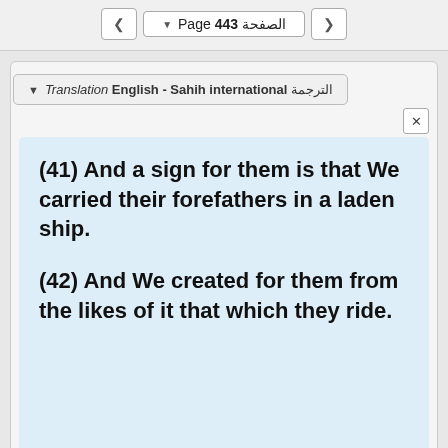Page 443 الصفحة
Translation English - Sahih international الترجمة
(41) And a sign for them is that We carried their forefathers in a laden ship.
(42) And We created for them from the likes of it that which they ride.